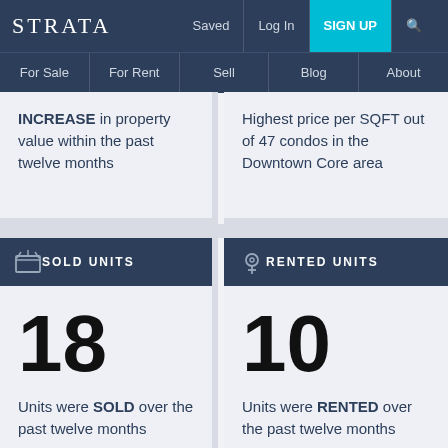STRATA | Saved | Log In | SIGN UP
For Sale | For Rent | Sell | Blog | About
INCREASE in property value within the past twelve months
Highest price per SQFT out of 47 condos in the Downtown Core area
SOLD UNITS
RENTED UNITS
18
Units were SOLD over the past twelve months
10
Units were RENTED over the past twelve months